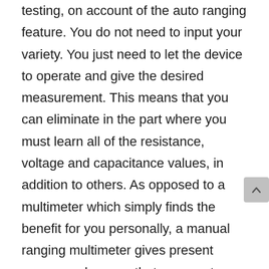testing, on account of the auto ranging feature. You do not need to input your variety. You just need to let the device to operate and give the desired measurement. This means that you can eliminate in the part where you must learn all of the resistance, voltage and capacitance values, in addition to others. As opposed to a multimeter which simply finds the benefit for you personally, a manual ranging multimeter gives present ranges and means that you must know all the different values linked to your component in order to even obtain a reading. When you start the assessment, it's the autoranging multimeters that help pinpoint conditions without requiring additional work. Whiles this certainly does give simplicity, sometimes it could compromise accuracy and precision.